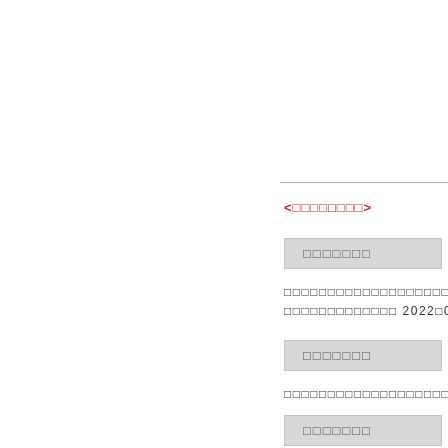<□□□□□□□□>
□□□□□□□
□□□□□□□□□□□□□□□□□□□□□□□□□□□□
□□□□□□□□□□□□□ 2022□08□26□ 19□3
□□□□□□□
□□□□□□□□□□□□□□□□□□□□□□□□□□□□
□□□□□□□